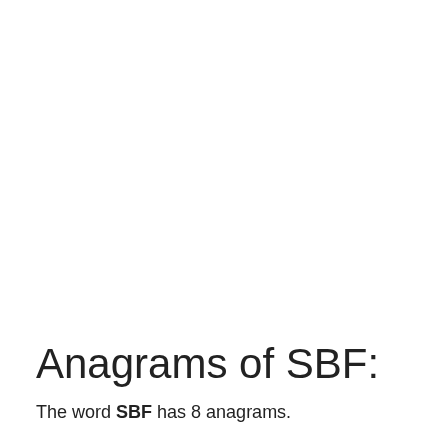Anagrams of SBF:
The word SBF has 8 anagrams.